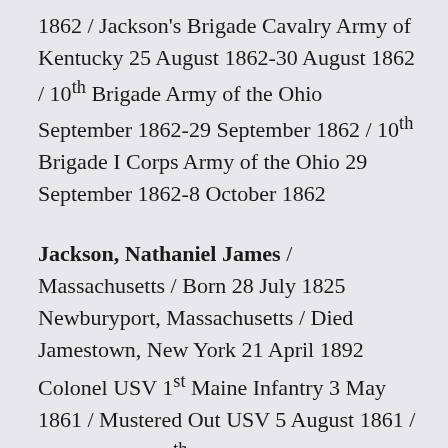1862 / Jackson's Brigade Cavalry Army of Kentucky 25 August 1862-30 August 1862 / 10th Brigade Army of the Ohio September 1862-29 September 1862 / 10th Brigade I Corps Army of the Ohio 29 September 1862-8 October 1862
Jackson, Nathaniel James / Massachusetts / Born 28 July 1825 Newburyport, Massachusetts / Died Jamestown, New York 21 April 1892 Colonel USV 1st Maine Infantry 3 May 1861 / Mustered Out USV 5 August 1861 / Colonel USV 5th Maine Infantry 3 September 1861 / Brigadier-General USV 24 September 1862 / Mustered Out USV 24 August 1865 / Brevet Major-General USV 13 March 1865 / WIA